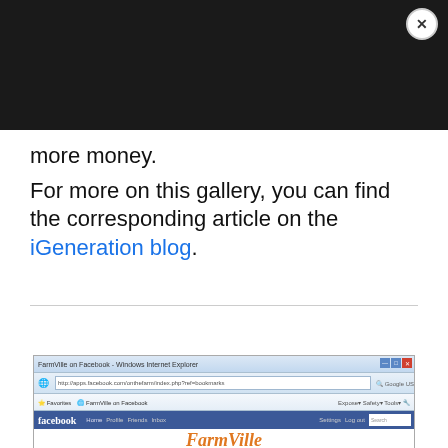[Figure (screenshot): Dark browser/modal overlay bar at top with close (X) button in top-right corner]
more money.
For more on this gallery, you can find the corresponding article on the iGeneration blog.
[Figure (screenshot): Screenshot of FarmVille on Facebook in Windows Internet Explorer browser window, showing the Facebook blue navigation bar and the beginning of the FarmVille logo in orange italic text at the bottom.]